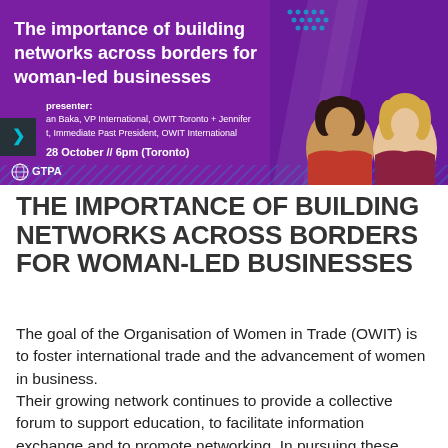[Figure (infographic): Purple banner with title 'The importance of building networks across borders for woman-led businesses', presenter info (Baka VP International OWIT Toronto + Jennifer, Immediate Past President OWIT International), date 28 October // 6pm (Toronto), GTPA logo, and two headshot photos of women]
THE IMPORTANCE OF BUILDING NETWORKS ACROSS BORDERS FOR WOMAN-LED BUSINESSES
The goal of the Organisation of Women in Trade (OWIT) is to foster international trade and the advancement of women in business.
Their growing network continues to provide a collective forum to support education, to facilitate information exchange and to promote networking. In pursuing these goals, OWIT strives to provide a rewarding volunteer environment, to stay at the forefront of trade and